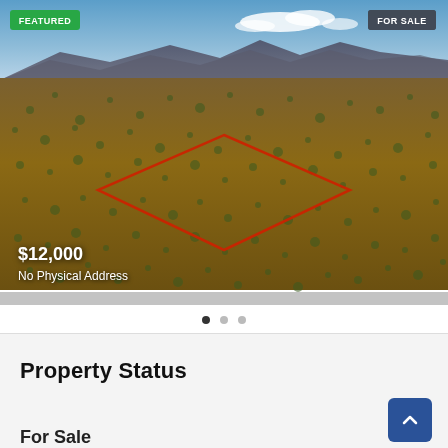[Figure (photo): Aerial photograph of arid desert land with scattered shrubs and a red diamond/rhombus boundary outline marking a property parcel. Mountains visible in the background under a partly cloudy sky. Green 'FEATURED' badge top-left, dark 'FOR SALE' badge top-right. Price $12,000 and 'No Physical Address' overlaid in white text at bottom-left of image.]
FEATURED
FOR SALE
$12,000
No Physical Address
Property Status
For Sale